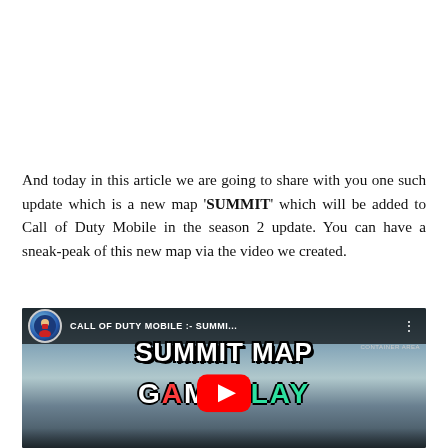And today in this article we are going to share with you one such update which is a new map 'SUMMIT' which will be added to Call of Duty Mobile in the season 2 update. You can have a sneak-peak of this new map via the video we created.
[Figure (screenshot): YouTube video thumbnail for 'CALL OF DUTY MOBILE - SUMMIT MAP GAMEPLAY' showing a snowy map gameplay scene with large bold text overlay and YouTube play button in the center.]